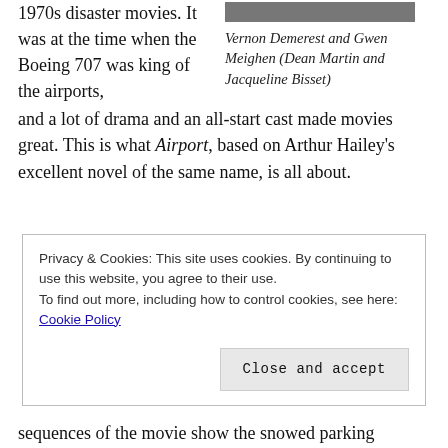1970s disaster movies. It was at the time when the Boeing 707 was king of the airports,
[Figure (photo): Photo of Vernon Demerest and Gwen Meighen (Dean Martin and Jacqueline Bisset)]
Vernon Demerest and Gwen Meighen (Dean Martin and Jacqueline Bisset)
and a lot of drama and an all-start cast made movies great. This is what Airport, based on Arthur Hailey's excellent novel of the same name, is all about.
Privacy & Cookies: This site uses cookies. By continuing to use this website, you agree to their use.
To find out more, including how to control cookies, see here: Cookie Policy
Close and accept
sequences of the movie show the snowed parking